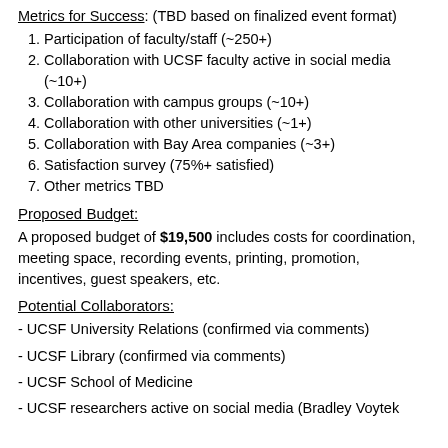Metrics for Success: (TBD based on finalized event format)
1. Participation of faculty/staff (~250+)
2. Collaboration with UCSF faculty active in social media (~10+)
3. Collaboration with campus groups (~10+)
4. Collaboration with other universities (~1+)
5. Collaboration with Bay Area companies (~3+)
6. Satisfaction survey (75%+ satisfied)
7. Other metrics TBD
Proposed Budget:
A proposed budget of $19,500 includes costs for coordination, meeting space, recording events, printing, promotion, incentives, guest speakers, etc.
Potential Collaborators:
- UCSF University Relations (confirmed via comments)
- UCSF Library (confirmed via comments)
- UCSF School of Medicine
- UCSF researchers active on social media (Bradley Voytek